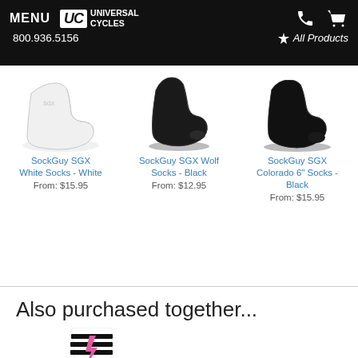MENU | UC Universal Cycles | 800.936.5156 | All Products
[Figure (photo): White low-cut ankle sock (SockGuy SGX White Socks)]
SockGuy SGX White Socks - White
From: $15.95
[Figure (photo): Black low-cut ankle sock (SockGuy SGX Wolf Socks)]
SockGuy SGX Wolf Socks - Black
From: $12.95
[Figure (photo): Black low-cut ankle sock (SockGuy SGX Colorado 6" Socks)]
SockGuy SGX Colorado 6" Socks - Black
From: $15.95
Also purchased together...
[Figure (photo): Black and white striped crew sock with pink lightning bolt design]